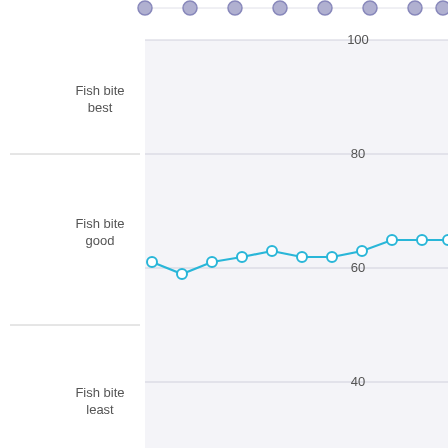[Figure (line-chart): Fishing forecast - fish bite rating]
Normal atmospheric pressure in August
Fishing and weather forecast for Korolev compiled 22/
| Ichthyology |  |
| --- | --- |